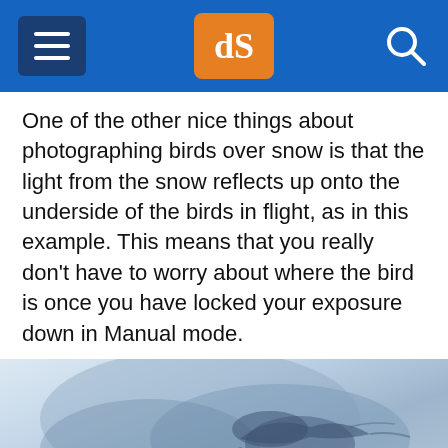dPS (Digital Photography School)
One of the other nice things about photographing birds over snow is that the light from the snow reflects up onto the underside of the birds in flight, as in this example. This means that you really don't have to worry about where the bird is once you have locked your exposure down in Manual mode.
[Figure (photo): A bird in flight photographed against a light blue-grey snowy sky background, showing blue-grey tones with wings visible.]